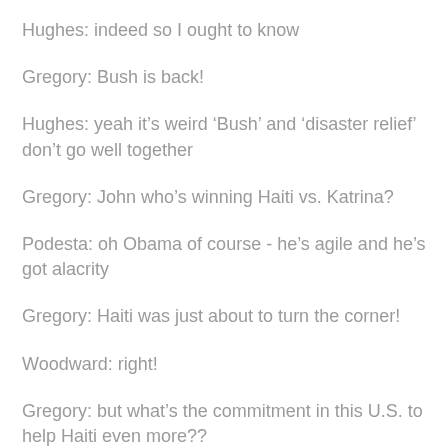Hughes: indeed so I ought to know
Gregory: Bush is back!
Hughes: yeah it's weird ‘Bush’ and ‘disaster relief’ don’t go well together
Gregory: John who’s winning Haiti vs. Katrina?
Podesta: oh Obama of course - he’s agile and he’s got alacrity
Gregory: Haiti was just about to turn the corner!
Woodward: right!
Gregory: but what’s the commitment in this U.S. to help Haiti even more??
Woodward: like we’ve done so much before
Gregory: right